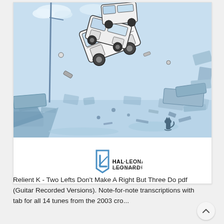[Figure (illustration): Comic-style illustration showing vehicles and debris in a blue-toned chaotic scene, with a small cat visible. This appears to be album cover art for Relient K 'Two Lefts Don't Make A Right But Three Do'. Below the illustration is the Hal Leonard logo.]
Relient K - Two Lefts Don't Make A Right But Three Do pdf (Guitar Recorded Versions). Note-for-note transcriptions with tab for all 14 tunes from the 2003 cro...